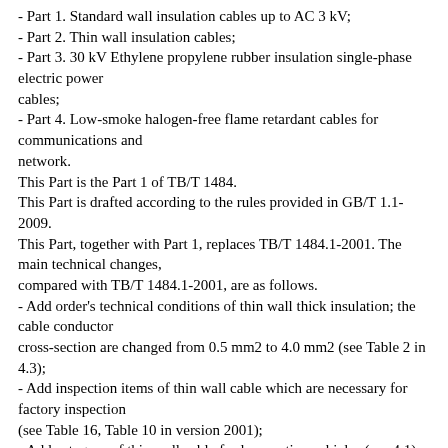- Part 1. Standard wall insulation cables up to AC 3 kV;
- Part 2. Thin wall insulation cables;
- Part 3. 30 kV Ethylene propylene rubber insulation single-phase electric power cables;
- Part 4. Low-smoke halogen-free flame retardant cables for communications and network.
This Part is the Part 1 of TB/T 1484.
This Part is drafted according to the rules provided in GB/T 1.1-2009.
This Part, together with Part 1, replaces TB/T 1484.1-2001. The main technical changes, compared with TB/T 1484.1-2001, are as follows.
- Add order's technical conditions of thin wall thick insulation; the cable conductor cross-section are changed from 0.5 mm2 to 4.0 mm2 (see Table 2 in 4.3);
- Add inspection items of thin wall cable which are necessary for factory inspection (see Table 16, Table 10 in version 2001);
- Add category of thin wall cable for locomotive vehicles (see 4.1);
- Add rated voltage grade of thin wall cable for locomotive vehicles (see Table 2 in 4.3);
- Add water absorption test and acidic-alkali resistances test for